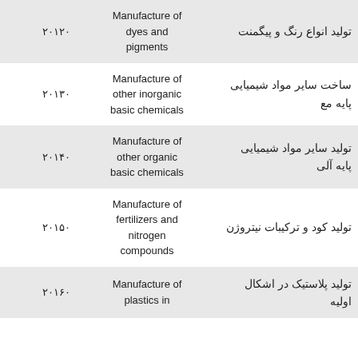| Code | English Description | Persian Description |
| --- | --- | --- |
| ۲۰۱۲۰ | Manufacture of dyes and pigments | تولید انواع رنگ و پیگمنت |
| ۲۰۱۳۰ | Manufacture of other inorganic basic chemicals | ساخت سایر مواد شیمیایی پایه مع |
| ۲۰۱۴۰ | Manufacture of other organic basic chemicals | تولید سایر مواد شیمیایی پایه آلی |
| ۲۰۱۵۰ | Manufacture of fertilizers and nitrogen compounds | تولید کود و ترکیبات نیتروژن |
| ۲۰۱۶۰ | Manufacture of plastics in ... | تولید پلاستیک در اشکال اولیه |